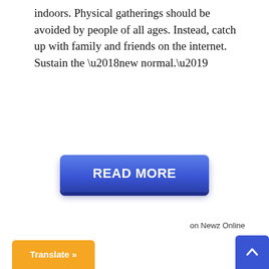indoors. Physical gatherings should be avoided by people of all ages. Instead, catch up with family and friends on the internet. Sustain the ‘new normal.’
[Figure (other): A blue gradient button labeled READ MORE with a drop shadow effect]
on Newz Online
[Figure (other): An orange button labeled Translate » at the bottom left]
[Figure (other): A blue square button with an upward arrow at the bottom right]